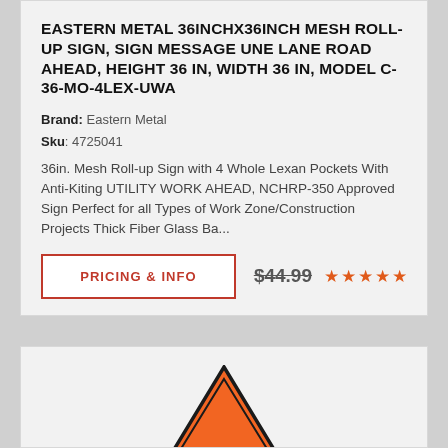EASTERN METAL 36INCHX36INCH MESH ROLL-UP SIGN, SIGN MESSAGE UNE LANE ROAD AHEAD, HEIGHT 36 IN, WIDTH 36 IN, MODEL C-36-MO-4LEX-UWA
Brand: Eastern Metal
Sku: 4725041
36in. Mesh Roll-up Sign with 4 Whole Lexan Pockets With Anti-Kiting UTILITY WORK AHEAD, NCHRP-350 Approved Sign Perfect for all Types of Work Zone/Construction Projects Thick Fiber Glass Ba...
PRICING & INFO
$44.99
[Figure (illustration): Partial view of an orange diamond/triangle road warning sign with the text 'ROUGH' visible at the bottom]